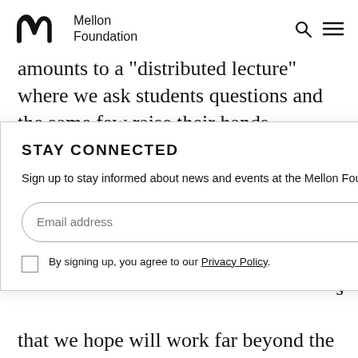[Figure (logo): Mellon Foundation logo with stylized 'm' icon and text 'Mellon Foundation']
amounts to a "distributed lecture" where we ask students questions and the same few raise their hands...
STAY CONNECTED
Sign up to stay informed about news and events at the Mellon Foundation.
By signing up, you agree to our Privacy Policy.
that we hope will work far beyond the